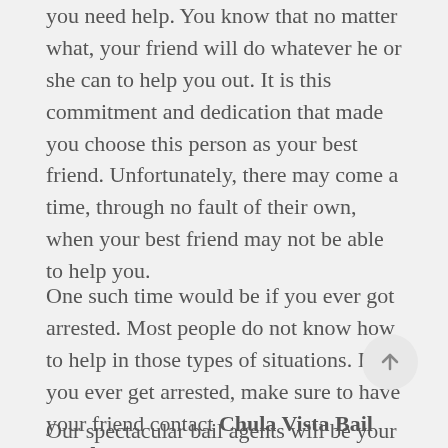you need help. You know that no matter what, your friend will do whatever he or she can to help you out. It is this commitment and dedication that made you choose this person as your best friend. Unfortunately, there may come a time, through no fault of their own, when your best friend may not be able to help you.
One such time would be if you ever got arrested. Most people do not know how to help in those types of situations. If you ever get arrested, make sure to have your friend contact Chula Vista Bail Bond Store.
Our spectacular bail agents will be your